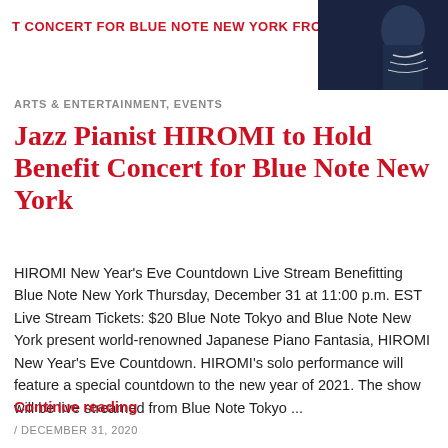T CONCERT FOR BLUE NOTE NEW YORK FROM TOKYO -
[Figure (photo): Photo of HIROMI wearing a dark navy outfit with graphic design, upper body visible against dark background]
ARTS & ENTERTAINMENT, EVENTS
Jazz Pianist HIROMI to Hold Benefit Concert for Blue Note New York
HIROMI New Year's Eve Countdown Live Stream Benefitting Blue Note New York Thursday, December 31 at 11:00 p.m. EST Live Stream Tickets: $20 Blue Note Tokyo and Blue Note New York present world-renowned Japanese Piano Fantasia, HIROMI New Year's Eve Countdown. HIROMI's solo performance will feature a special countdown to the new year of 2021. The show will be live streamed from Blue Note Tokyo ...
Continue reading
/ DECEMBER 31, 2020